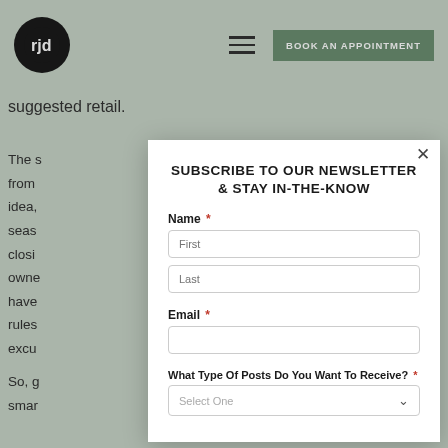RJD Law — navigation bar with logo, hamburger menu, and BOOK AN APPOINTMENT button
suggested retail.
The s... from... idea, ... seas... closi... owne... have... rules... excu...
So, g... smar...
SUBSCRIBE TO OUR NEWSLETTER & STAY IN-THE-KNOW
Name *
First
Last
Email *
What Type Of Posts Do You Want To Receive? *
Select One